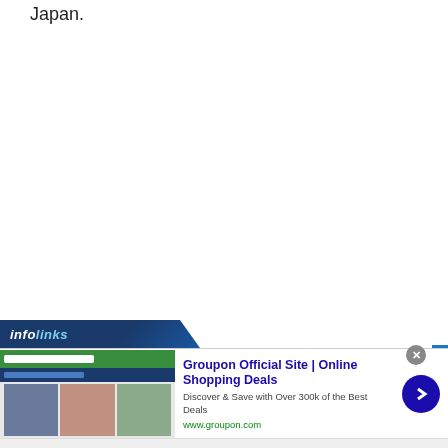Japan.
[Figure (screenshot): Infolinks advertisement bar with logo]
[Figure (screenshot): Groupon advertisement: 'Groupon Official Site | Online Shopping Deals' - Discover & Save with Over 300k of the Best Deals - www.groupon.com, with thumbnail images and blue arrow button]